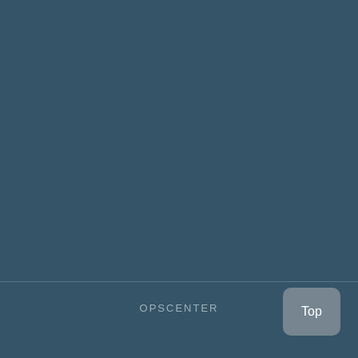OPSCENTER
[Figure (other): Top navigation button, rounded rectangle with label 'Top']